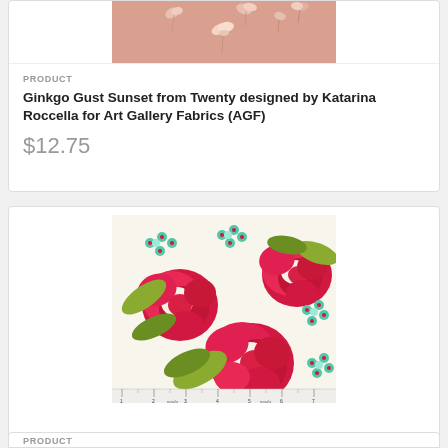[Figure (photo): Fabric swatch showing pink/rose background with light ginkgo leaf silhouettes in pink and white, partially cropped at top]
PRODUCT
Ginkgo Gust Sunset from Twenty designed by Katarina Roccella for Art Gallery Fabrics (AGF)
$12.75
[Figure (photo): Fabric swatch on white/cream background with large red/pink floral roses, teal/mint small flowers, and olive green leaves; ruler at bottom showing Moda branding]
PRODUCT